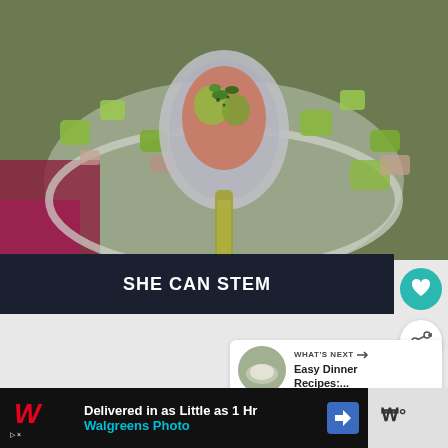[Figure (photo): Close-up photo of a spoon holding a piece of salmon or tuna with green herbs and chopped avocado, over a bowl of mixed salad with avocado and other ingredients. Bowl is on a red/purple surface.]
[Figure (logo): Dark banner with bold white text reading SHE CAN STEM]
[Figure (infographic): Heart icon button in teal/turquoise circular button, and a share icon in white circular button]
[Figure (infographic): WHAT'S NEXT panel with thumbnail image and text Easy Dinner Recipes:...]
[Figure (infographic): Bottom advertisement banner with Walgreens logo: Delivered in as Little as 1 Hr, Walgreens Photo, with blue navigation arrow icon and additional content on right side]